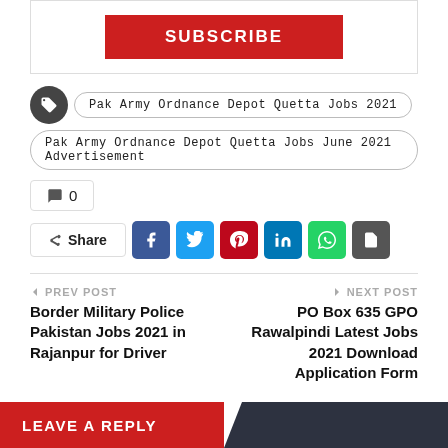[Figure (other): Subscribe button (red background, white uppercase text)]
Pak Army Ordnance Depot Quetta Jobs 2021
Pak Army Ordnance Depot Quetta Jobs June 2021 Advertisement
0
Share
← PREV POST
Border Military Police Pakistan Jobs 2021 in Rajanpur for Driver
NEXT POST →
PO Box 635 GPO Rawalpindi Latest Jobs 2021 Download Application Form
LEAVE A REPLY